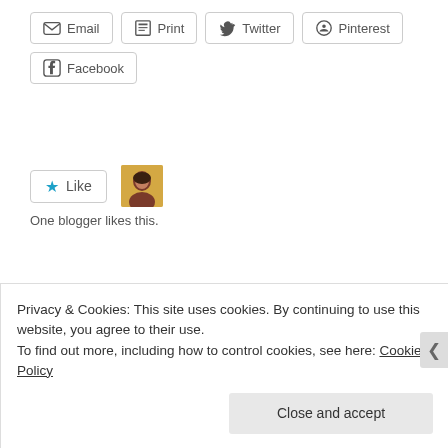[Figure (other): Share buttons row 1: Email, Print, Twitter, Pinterest]
[Figure (other): Share button row 2: Facebook]
[Figure (other): Like button with star icon, blogger avatar thumbnail, text: One blogger likes this.]
RELATED
Join us for an Om Shawl Knit-Along!
January 10, 2017
In "Events"
Comfort Cloud: Free pattern!
December 2, 2015
In "Espace Tricot Patterns"
Now free pattern from
Privacy & Cookies: This site uses cookies. By continuing to use this website, you agree to their use.
To find out more, including how to control cookies, see here: Cookie Policy
[Figure (other): Close and accept button]